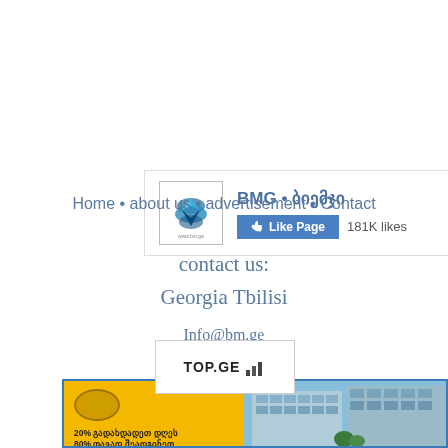[Figure (other): BMG • ბიემჯი Facebook page widget with logo, Like Page button, and 181K likes]
Home • about us • advertisement • Contact
contact us:
Georgia Tbilisi
Info@bm.ge
[Figure (other): TOP.GE website rating widget with bar chart icon]
[Figure (other): Advertisement banner for real estate in Georgian language with building photo]